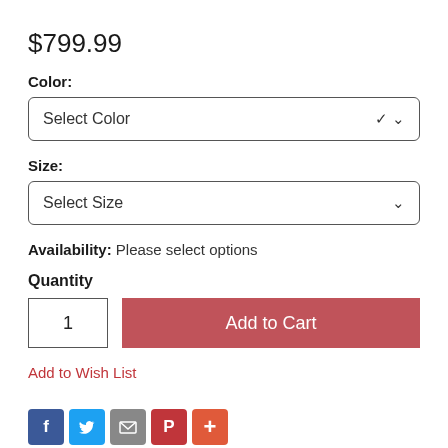$799.99
Color:
Select Color
Size:
Select Size
Availability: Please select options
Quantity
1
Add to Cart
Add to Wish List
[Figure (infographic): Social share icons: Facebook (blue f), Twitter (blue bird), Mail (grey envelope), Pinterest (red P), plus (orange +)]